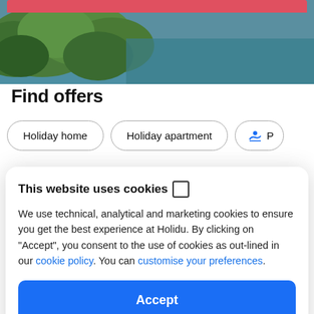[Figure (photo): Aerial/landscape photo showing green trees and teal/blue water body, partially cropped. A red bar is visible at the top of the image.]
Find offers
Holiday home
Holiday apartment
P (partially visible, with swimming icon)
This website uses cookies 🍪
We use technical, analytical and marketing cookies to ensure you get the best experience at Holidu. By clicking on "Accept", you consent to the use of cookies as out-lined in our cookie policy. You can customise your preferences.